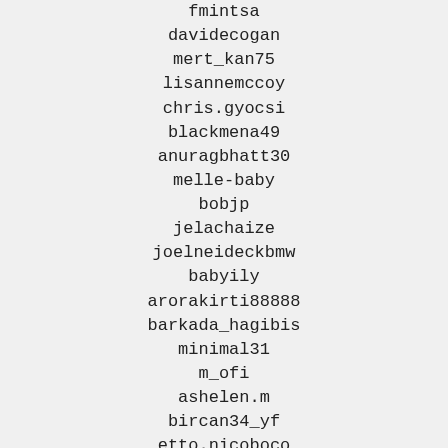fmintsa
davidecogan
mert_kan75
lisannemccoy
chris.gyocsi
blackmena49
anuragbhatt30
melle-baby
bobjp
jelachaize
joelneideckbmw
babyily
arorakirti88888
barkada_hagibis
minimal31
m_ofi
ashelen.m
bircan34_yf
etto.nicoboco
bak784
jdknights
elkrivermr32
matthew.paul.thomas
create886